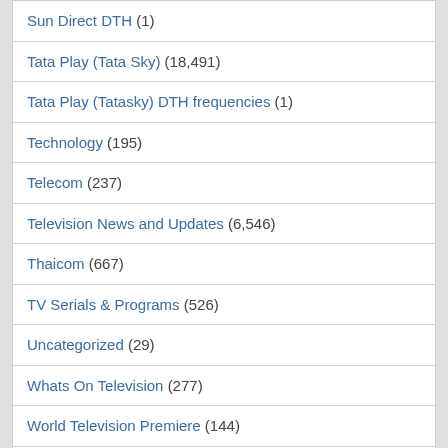Sun Direct DTH (1)
Tata Play (Tata Sky) (18,491)
Tata Play (Tatasky) DTH frequencies (1)
Technology (195)
Telecom (237)
Television News and Updates (6,546)
Thaicom (667)
TV Serials & Programs (526)
Uncategorized (29)
Whats On Television (277)
World Television Premiere (144)
Zing FTA (1)
Meta
Log in